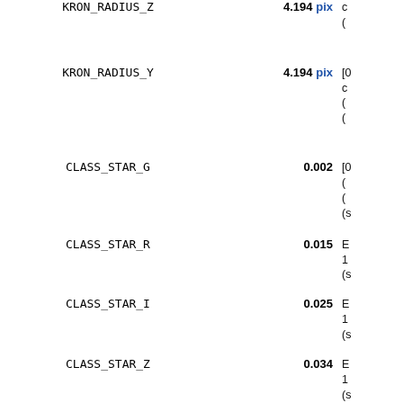| Parameter | Value | Description |
| --- | --- | --- |
| KRON_RADIUS_Z | 4.194 pix | c
(
[0
c
(
( |
| KRON_RADIUS_Y | 4.194 pix | [0
c
(
( |
| CLASS_STAR_G | 0.002 | [
(
(
(s |
| CLASS_STAR_R | 0.015 | E
1
(s |
| CLASS_STAR_I | 0.025 | E
1
(s |
| CLASS_STAR_Z | 0.034 | E
1
(s |
| CLASS_STAR_Y | 0.003 | E
1
(s |
| SPREAD_MODEL_G | 0.021 | 1 |